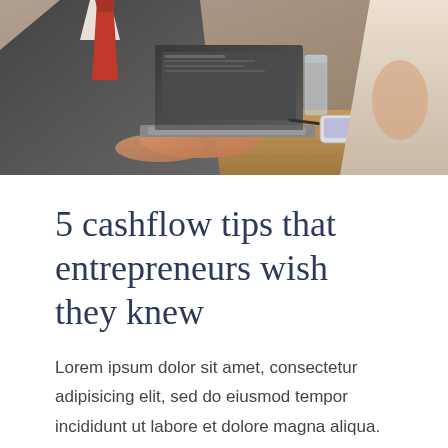[Figure (photo): Business meeting photo: two people at a wooden desk, one typing on a laptop (wearing a dark suit with red tie), another holding a document (in white top). A phone, glass, and tablet are visible on the desk.]
5 cashflow tips that entrepreneurs wish they knew
Lorem ipsum dolor sit amet, consectetur adipisicing elit, sed do eiusmod tempor incididunt ut labore et dolore magna aliqua. Ut enim ad minim veniam, quis nostrud exercitation ullamco laboris nisi ut aliquip ex ea commodo consequat.